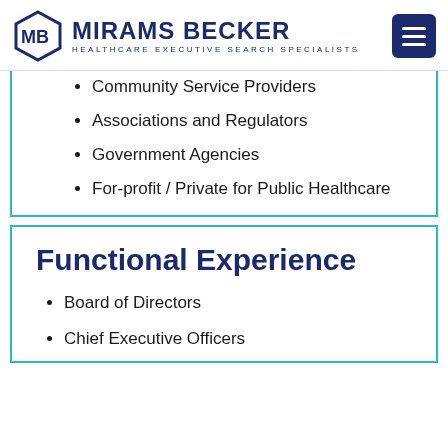[Figure (logo): Mirams Becker logo with hexagon MB icon and text 'MIRAMS BECKER HealthCare Executive Search Specialists', with dark blue hamburger menu button on the right]
Community Service Providers
Associations and Regulators
Government Agencies
For-profit / Private for Public Healthcare
Functional Experience
Board of Directors
Chief Executive Officers